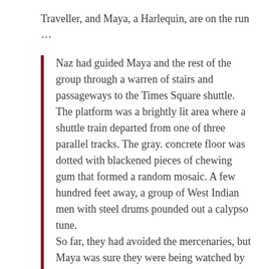Traveller, and Maya, a Harlequin, are on the run ...
Naz had guided Maya and the rest of the group through a warren of stairs and passageways to the Times Square shuttle. The platform was a brightly lit area where a shuttle train departed from one of three parallel tracks. The gray. concrete floor was dotted with blackened pieces of chewing gum that formed a random mosaic. A few hundred feet away, a group of West Indian men with steel drums pounded out a calypso tune.
So far, they had avoided the mercenaries, but Maya was sure they were being watched by the underground surveillance system. Now that their presence in New York had been discovered, she knew that the full resources of the Tabula would be used to find them. According to Naz, all they had to do was walk down the subway tunnel and take a